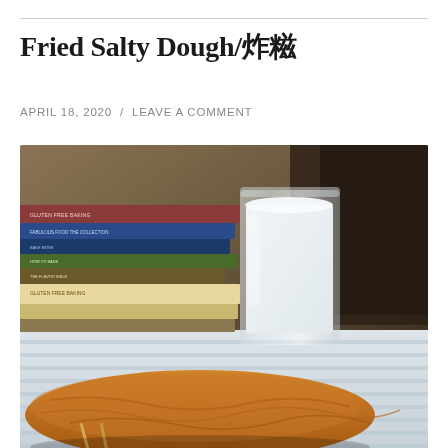Fried Salty Dough/炸糍
APRIL 18, 2020 / LEAVE A COMMENT
[Figure (photo): A photograph showing fried salty dough (Chinese fried dough) on a striped cloth with chopsticks, with a glass of milk and a stack of cookbooks including 'Gluten Free Baking' in the background.]